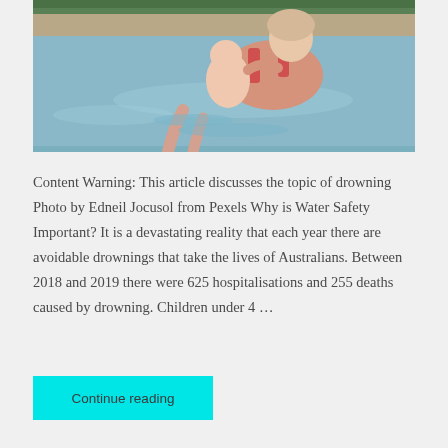[Figure (photo): A woman in a pink/coral swimsuit holding a baby in a swimming pool. The baby appears to be a newborn or very young infant.]
Content Warning: This article discusses the topic of drowning Photo by Edneil Jocusol from Pexels Why is Water Safety Important? It is a devastating reality that each year there are avoidable drownings that take the lives of Australians. Between 2018 and 2019 there were 625 hospitalisations and 255 deaths caused by drowning. Children under 4 …
Continue reading